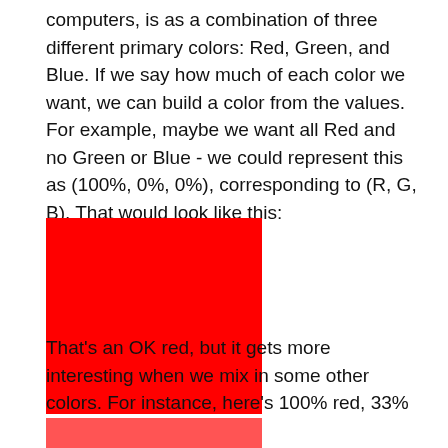computers, is as a combination of three different primary colors: Red, Green, and Blue. If we say how much of each color we want, we can build a color from the values. For example, maybe we want all Red and no Green or Blue - we could represent this as (100%, 0%, 0%), corresponding to (R, G, B). That would look like this:
[Figure (illustration): A solid red rectangle representing the color (100%, 0%, 0%) in RGB.]
That's an OK red, but it gets more interesting when we mix in some other colors. For instance, here's 100% red, 33% green, and 33% blue:
[Figure (illustration): A salmon/light-red rectangle representing the color 100% red, 33% green, and 33% blue in RGB.]